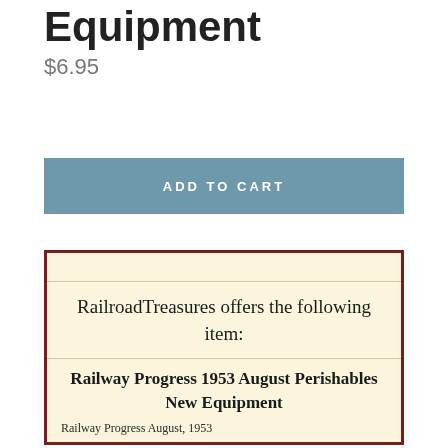Equipment
$6.95
ADD TO CART
RailroadTreasures offers the following item:
Railway Progress 1953 August Perishables New Equipment
Railway Progress August, 1953